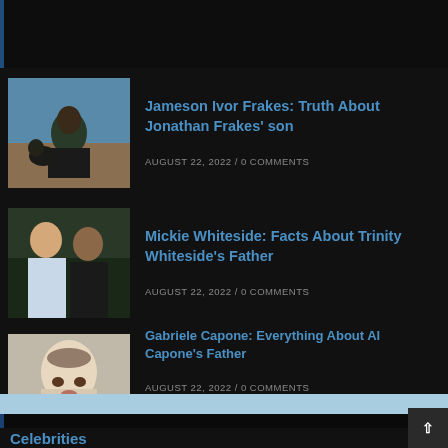[Figure (photo): Dark header bar with blue left border accent]
Jameson Ivor Frakes: Truth About Jonathan Frakes' son
AUGUST 22, 2022 / 0 COMMENTS
Mickie Whiteside: Facts About Trinity Whiteside's Father
AUGUST 22, 2022 / 0 COMMENTS
Gabriele Capone: Everything About Al Capone's Father
AUGUST 22, 2022 / 0 COMMENTS
Celebrities